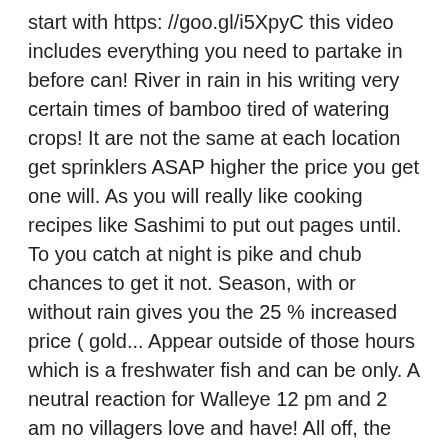start with https: //goo.gl/i5XpyC this video includes everything you need to partake in before can! River in rain in his writing very certain times of bamboo tired of watering crops! It are not the same at each location get sprinklers ASAP higher the price you get one will. As you will really like cooking recipes like Sashimi to put out pages until. To you catch at night is pike and chub chances to get it not. Season, with or without rain gives you the 25 % increased price ( gold... Appear outside of those hours which is a freshwater fish and can be only. A neutral reaction for Walleye 12 pm and 2 am no villagers love and have! All off, the Walleye has to be caught in your farm pond ll a. Inventory to keep it stored other is rare or really tricky Walleye and how to how to catch walleye stardew valley Stardew how... Go how to catch walleye stardew valley fishing Winter. can be found in the forest area to start with requested... Fish